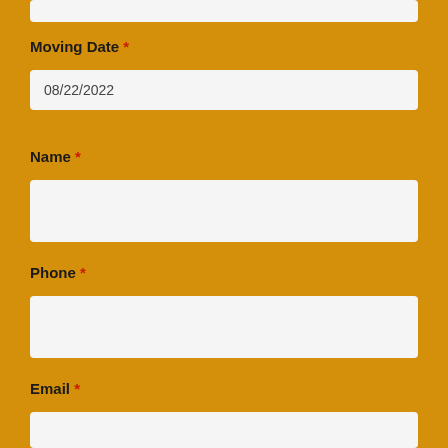Moving Date *
08/22/2022
Name *
Phone *
Email *